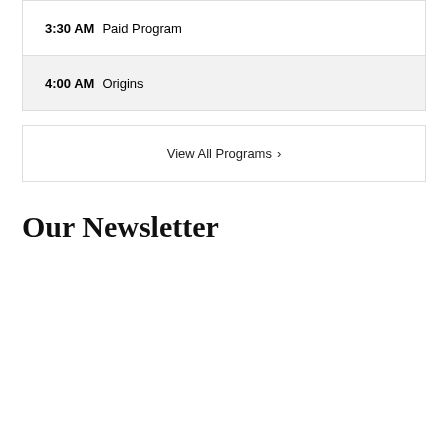3:30 AM  Paid Program
4:00 AM  Origins
View All Programs ›
Our Newsletter